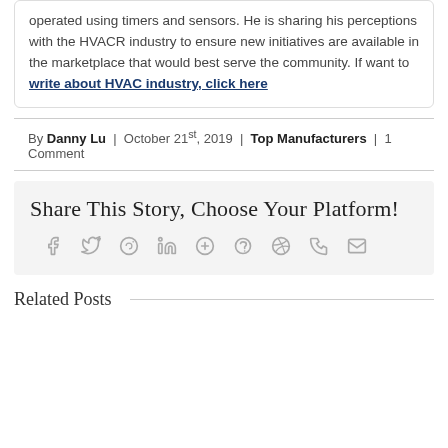operated using timers and sensors. He is sharing his perceptions with the HVACR industry to ensure new initiatives are available in the marketplace that would best serve the community. If want to write about HVAC industry, click here
By Danny Lu | October 21st, 2019 | Top Manufacturers | 1 Comment
Share This Story, Choose Your Platform!
[Social share icons: facebook, twitter, reddit, linkedin, whatsapp, tumblr, pinterest, vk, email]
Related Posts